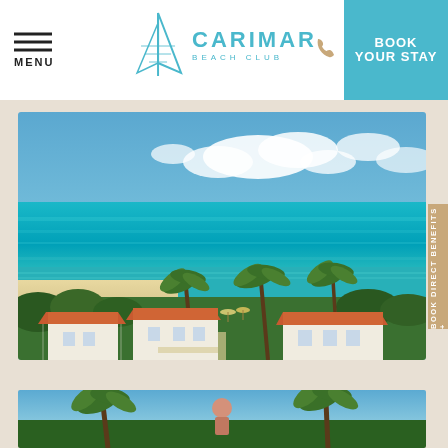MENU | CARIMAR BEACH CLUB | BOOK YOUR STAY
[Figure (photo): Aerial view of Carimar Beach Club resort showing white buildings with terracotta/orange roofs surrounded by palm trees and tropical greenery, with turquoise Caribbean ocean and sandy beach in the background under a blue sky with white clouds]
BOOK DIRECT BENEFITS +
[Figure (photo): Partial view of a second photo showing palm trees and what appears to be a beach/pool scene at the resort]